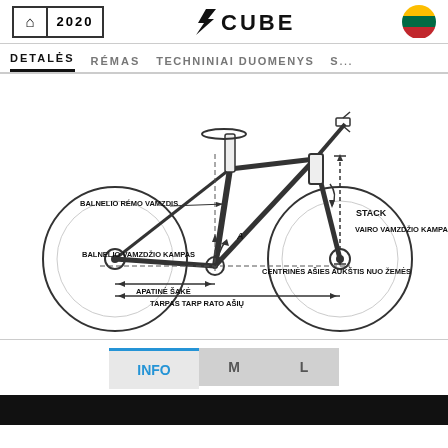2020 | CUBE
DETALĖS | RÉMAS | TECHNINIAI DUOMENYS | S...
[Figure (engineering-diagram): Bicycle frame geometry diagram with labeled measurements in Lithuanian: BALNELIO RÉMO VAMZDIS (seat tube), BALNELIO VAMZDŽIO KAMPAS (seat tube angle), APATINĖ ŠAKĖ (chainstay), TARPAS TARP RATO AŠIŲ (wheelbase), STACK, VAIRO VAMZDŽIO KAMPAS (head tube angle), CENTRINĖS AŠIES AUKŠTIS NUO ŽEMĖS (bottom bracket height). Arrows and dimension lines indicate each measurement on a line-art bicycle illustration.]
INFO | M | L